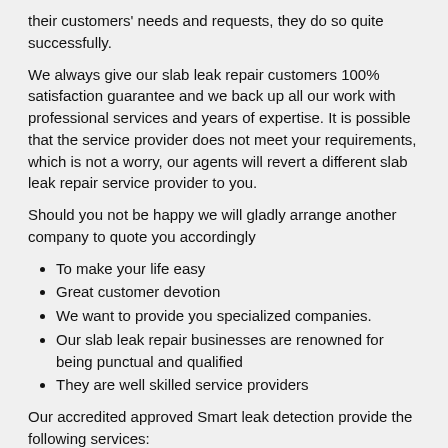their customers' needs and requests, they do so quite successfully.
We always give our slab leak repair customers 100% satisfaction guarantee and we back up all our work with professional services and years of expertise. It is possible that the service provider does not meet your requirements, which is not a worry, our agents will revert a different slab leak repair service provider to you.
Should you not be happy we will gladly arrange another company to quote you accordingly
To make your life easy
Great customer devotion
We want to provide you specialized companies.
Our slab leak repair businesses are renowned for being punctual and qualified
They are well skilled service providers
Our accredited approved Smart leak detection provide the following services:
Water leak detection Wierda Crest Estate
Slab leak repair Wierda Crest Estate
Underground water leak detection Wierda Crest Estate
Leak detection services Wierda Crest Estate
Pipe repairs Wierda Crest Estate
Shower repairs Wierda Crest Estate
Water leak detection companies Wierda Crest Estate